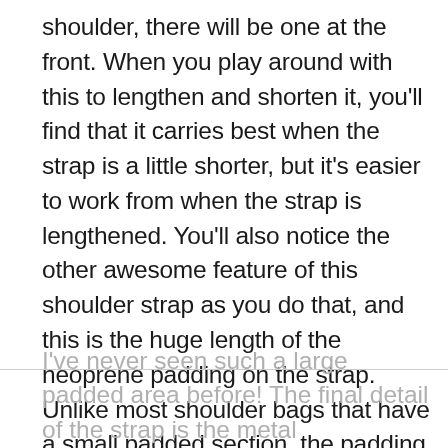shoulder, there will be one at the front. When you play around with this to lengthen and shorten it, you'll find that it carries best when the strap is a little shorter, but it's easier to work from when the strap is lengthened. You'll also notice the other awesome feature of this shoulder strap as you do that, and this is the huge length of the neoprene padding on the strap. Unlike most shoulder bags that have a small padded section, the padding on this strap is about 16 inches long. It means that it really doesn't matter how you carry the bag, there's always padding in contact with your shoulder.
I've never seen such a large padded area before! The final detail of the strap is the metal